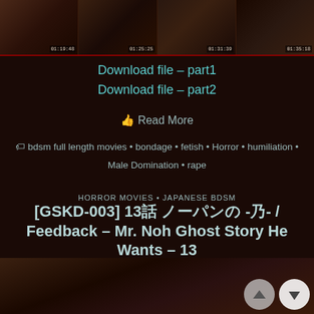[Figure (screenshot): Filmstrip of four video thumbnails with timecodes: 01:19:48, 01:25:25, 01:31:39, 01:35:18]
Download file – part1
Download file – part2
👍 Read More
🏷 bdsm full length movies • bondage • fetish • Horror • humiliation • Male Domination • rape
HORROR MOVIES • JAPANESE BDSM
[GSKD-003] 13話 ノーパンの -乃- / Feedback – Mr. Noh Ghost Story He Wants – 13
⊙ 09/11/2017
[Figure (photo): Dark moody photo at the bottom of the page showing a person]